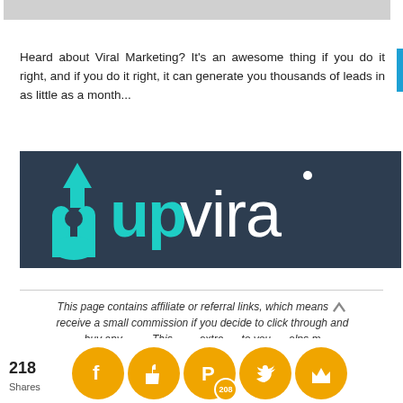[Figure (photo): Top gray image placeholder bar]
Heard about Viral Marketing? It’s an awesome thing if you do it right, and if you do it right, it can generate you thousands of leads in as little as a month...
[Figure (logo): UpViral logo on dark navy background with teal up-arrow and 'upviral' text in white]
This page contains affiliate or referral links, which means I receive a small commission if you decide to click through and buy any product. This is at no extra cost to you and helps me maintain the website. If you want to know more, please re...
218 Shares
[Figure (infographic): Social share buttons: Facebook, thumbs-up/like, Pinterest (208), Twitter, and crown icon — all golden circular icons at bottom]